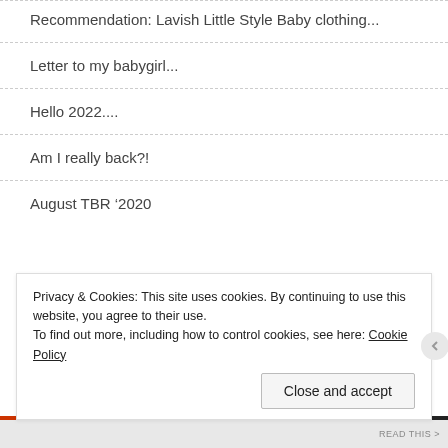Recommendation: Lavish Little Style Baby clothing...
Letter to my babygirl...
Hello 2022....
Am I really back?!
August TBR ‘2020
#girlgang
[Figure (illustration): Pink lipstick illustration, partially visible, drawn in a simple cartoon style with pink fill and magenta outline]
Privacy & Cookies: This site uses cookies. By continuing to use this website, you agree to their use.
To find out more, including how to control cookies, see here: Cookie Policy
Close and accept